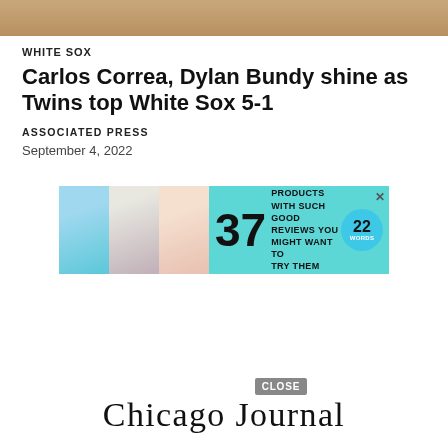[Figure (photo): Top banner image showing a sandy/earthy brownish surface, cropped at the top of the page]
WHITE SOX
Carlos Correa, Dylan Bundy shine as Twins top White Sox 5-1
ASSOCIATED PRESS
September 4, 2022
[Figure (screenshot): Advertisement banner: 37 BEAUTY PRODUCTS WITH SUCH GOOD REVIEWS YOU MIGHT WANT TO TRY THEM YOURSELF — 22 Words brand, teal/turquoise background with product photos]
[Figure (logo): Chicago Journal logo in large serif font at the bottom of the page]